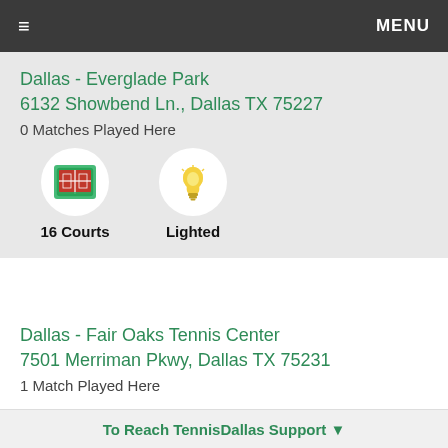≡  MENU
Dallas - Everglade Park
6132 Showbend Ln., Dallas TX 75227
0 Matches Played Here
16 Courts  Lighted
Dallas - Fair Oaks Tennis Center
7501 Merriman Pkwy, Dallas TX 75231
1 Match Played Here
16 Courts  Lighted
To Reach TennisDallas Support ▼